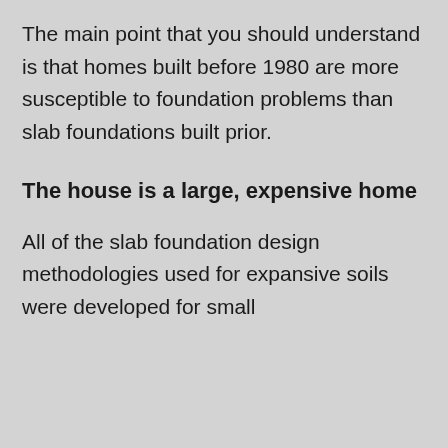The main point that you should understand is that homes built before 1980 are more susceptible to foundation problems than slab foundations built prior.
The house is a large, expensive home
All of the slab foundation design methodologies used for expansive soils were developed for small